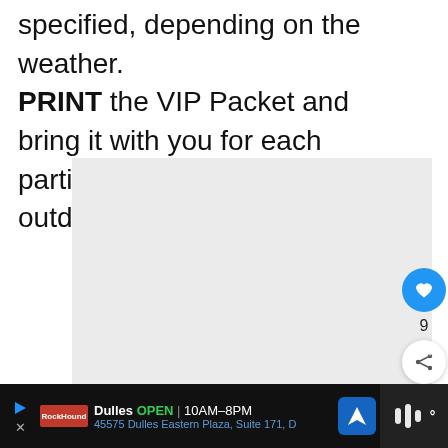specified, depending on the weather. PRINT the VIP Packet and bring it with you for each participant. Bring appropriate outdoor clothing.
[Figure (photo): Light gray placeholder image box]
[Figure (infographic): Like button (blue circle with heart icon), count of 9, and share button below]
[Figure (infographic): WHAT'S NEXT panel with thumbnail and text 'Rockhounding New Englan...']
Dulles OPEN 10AM-8PM 45575 Dulles Eastern Plaza, Suite 171, D